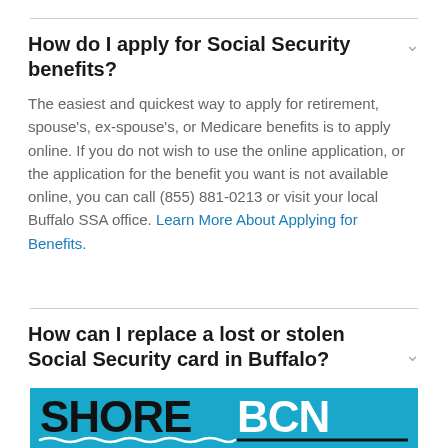How do I apply for Social Security benefits?
The easiest and quickest way to apply for retirement, spouse's, ex-spouse's, or Medicare benefits is to apply online. If you do not wish to use the online application, or the application for the benefit you want is not available online, you can call (855) 881-0213 or visit your local Buffalo SSA office. Learn More About Applying for Benefits.
How can I replace a lost or stolen Social Security card in Buffalo?
[Figure (logo): SHORE BCN logo on a cyan/blue background with wave decoration]